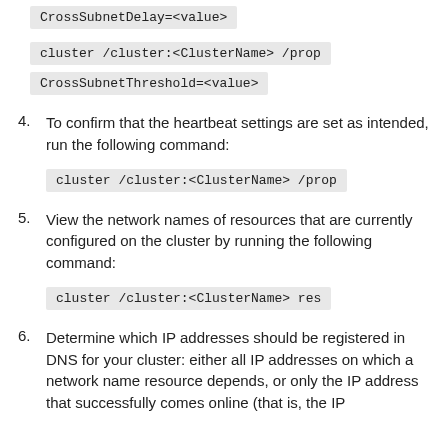CrossSubnetDelay=<value>
cluster /cluster:<ClusterName> /prop
CrossSubnetThreshold=<value>
4. To confirm that the heartbeat settings are set as intended, run the following command:
cluster /cluster:<ClusterName> /prop
5. View the network names of resources that are currently configured on the cluster by running the following command:
cluster /cluster:<ClusterName> res
6. Determine which IP addresses should be registered in DNS for your cluster: either all IP addresses on which a network name resource depends, or only the IP address that successfully comes online (that is, the IP